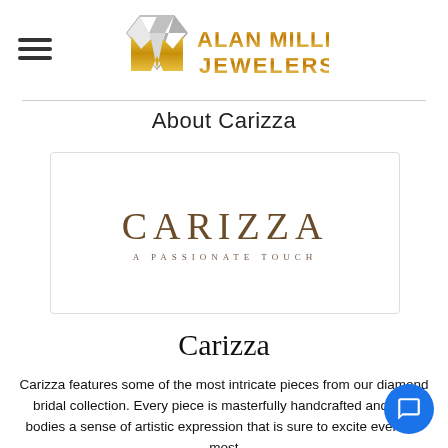[Figure (logo): Alan Miller Jewelers logo with diamond graphic and gold text]
About Carizza
[Figure (logo): Carizza brand logo with text 'CARIZZA' and tagline 'A PASSIONATE TOUCH']
Carizza
Carizza features some of the most intricate pieces from our diamond bridal collection. Every piece is masterfully handcrafted and embodies a sense of artistic expression that is sure to excite even the most